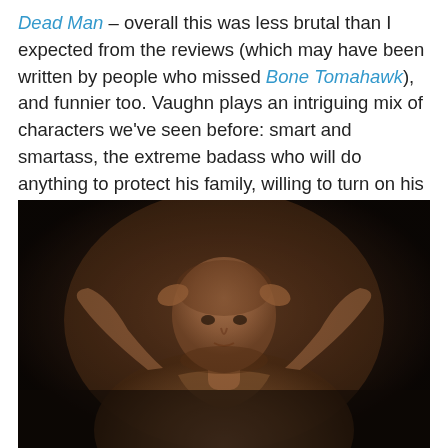Dead Man – overall this was less brutal than I expected from the reviews (which may have been written by people who missed Bone Tomahawk), and funnier too. Vaughn plays an intriguing mix of characters we've seen before: smart and smartass, the extreme badass who will do anything to protect his family, willing to turn on his own colleagues to protect police but later destroying any prison guard who gets in his way, always calm and patient.
[Figure (photo): A bald man in a beige/orange prison uniform stands with his hands clasped behind his head, photographed in a dark, dimly lit setting. The image is cinematic and moody.]